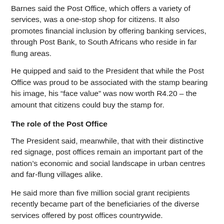Barnes said the Post Office, which offers a variety of services, was a one-stop shop for citizens. It also promotes financial inclusion by offering banking services, through Post Bank, to South Africans who reside in far flung areas.
He quipped and said to the President that while the Post Office was proud to be associated with the stamp bearing his image, his “face value” was now worth R4.20 – the amount that citizens could buy the stamp for.
The role of the Post Office
The President said, meanwhile, that with their distinctive red signage, post offices remain an important part of the nation’s economic and social landscape in urban centres and far-flung villages alike.
He said more than five million social grant recipients recently became part of the beneficiaries of the diverse services offered by post offices countrywide.